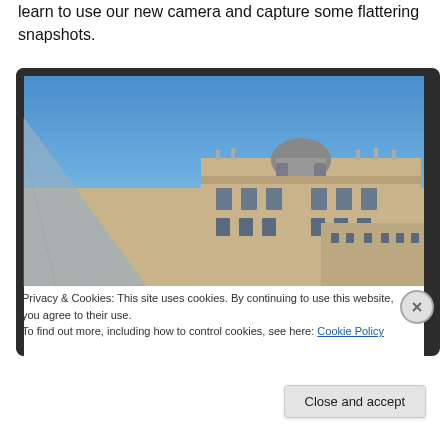learn to use our new camera and capture some flattering snapshots.
[Figure (photo): Photo of the Louvre Museum in Paris showing the glass pyramid and baroque facade against a blue sky, displayed within a dark-bordered frame with a cookie consent overlay at the bottom]
Privacy & Cookies: This site uses cookies. By continuing to use this website, you agree to their use.
To find out more, including how to control cookies, see here: Cookie Policy
Close and accept